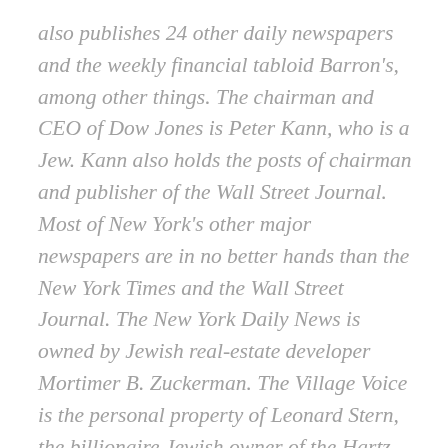also publishes 24 other daily newspapers and the weekly financial tabloid Barron's, among other things. The chairman and CEO of Dow Jones is Peter Kann, who is a Jew. Kann also holds the posts of chairman and publisher of the Wall Street Journal. Most of New York's other major newspapers are in no better hands than the New York Times and the Wall Street Journal. The New York Daily News is owned by Jewish real-estate developer Mortimer B. Zuckerman. The Village Voice is the personal property of Leonard Stern, the billionaire Jewish owner of the Hartz Mountain pet supply firm.